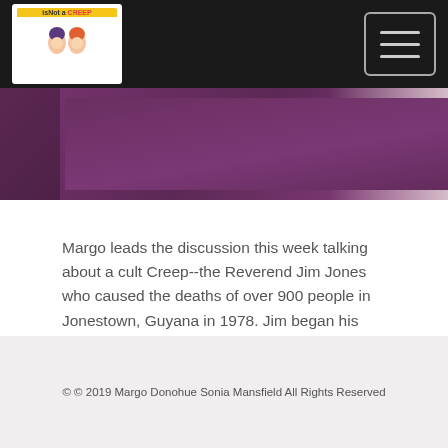isNot a CREEP [logo with two cartoon women]
[Figure (photo): Partial photograph showing a person in dark purple/maroon robes or clothing, cropped at the top portion of the page]
Margo leads the discussion this week talking about a cult Creep--the Reverend Jim Jones who caused the deaths of over 900 people in Jonestown, Guyana in 1978. Jim began his career as a pastor from Indiana who believed in social justice....
Read More
© © 2019 Margo Donohue Sonia Mansfield All Rights Reserved